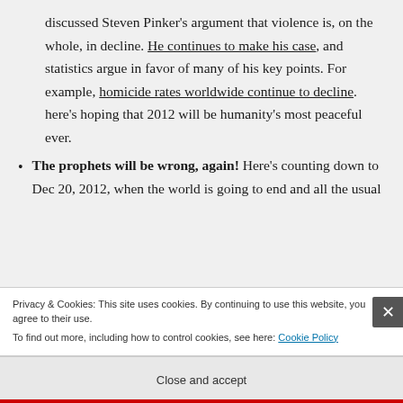discussed Steven Pinker's argument that violence is, on the whole, in decline. He continues to make his case, and statistics argue in favor of many of his key points. For example, homicide rates worldwide continue to decline. here's hoping that 2012 will be humanity's most peaceful ever.
The prophets will be wrong, again! Here's counting down to Dec 20, 2012, when the world is going to end and all the usual
Privacy & Cookies: This site uses cookies. By continuing to use this website, you agree to their use. To find out more, including how to control cookies, see here: Cookie Policy
Close and accept